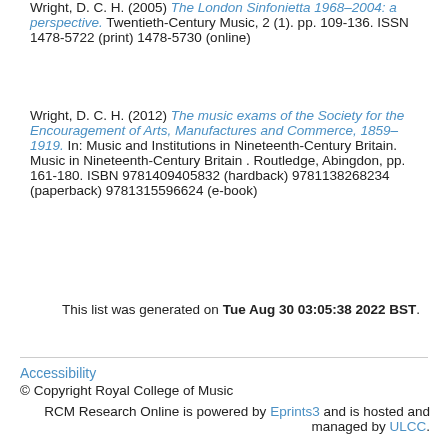Wright, D. C. H. (2005) The London Sinfonietta 1968–2004: a perspective. Twentieth-Century Music, 2 (1). pp. 109-136. ISSN 1478-5722 (print) 1478-5730 (online)
Wright, D. C. H. (2012) The music exams of the Society for the Encouragement of Arts, Manufactures and Commerce, 1859–1919. In: Music and Institutions in Nineteenth-Century Britain. Music in Nineteenth-Century Britain . Routledge, Abingdon, pp. 161-180. ISBN 9781409405832 (hardback) 9781138268234 (paperback) 9781315596624 (e-book)
This list was generated on Tue Aug 30 03:05:38 2022 BST.
Accessibility
© Copyright Royal College of Music
RCM Research Online is powered by Eprints3 and is hosted and managed by ULCC.